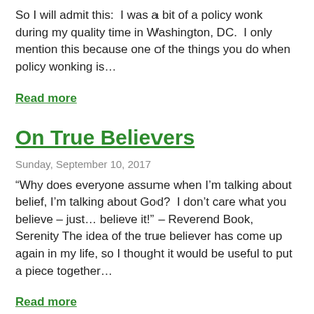So I will admit this:  I was a bit of a policy wonk during my quality time in Washington, DC.  I only mention this because one of the things you do when policy wonking is…
Read more
On True Believers
Sunday, September 10, 2017
“Why does everyone assume when I’m talking about belief, I’m talking about God?  I don’t care what you believe – just… believe it!” – Reverend Book, Serenity The idea of the true believer has come up again in my life, so I thought it would be useful to put a piece together…
Read more